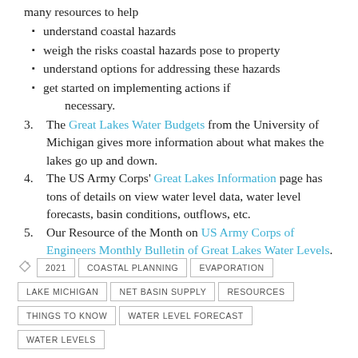many resources to help
understand coastal hazards
weigh the risks coastal hazards pose to property
understand options for addressing these hazards
get started on implementing actions if necessary.
3. The Great Lakes Water Budgets from the University of Michigan gives more information about what makes the lakes go up and down.
4. The US Army Corps' Great Lakes Information page has tons of details on view water level data, water level forecasts, basin conditions, outflows, etc.
5. Our Resource of the Month on US Army Corps of Engineers Monthly Bulletin of Great Lakes Water Levels.
2021  COASTAL PLANNING  EVAPORATION  LAKE MICHIGAN  NET BASIN SUPPLY  RESOURCES  THINGS TO KNOW  WATER LEVEL FORECAST  WATER LEVELS